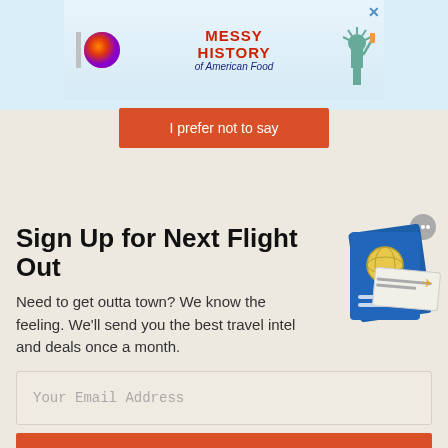[Figure (screenshot): Advertisement banner for 'Messy History of American Food' with colorful logo and Statue of Liberty illustration]
I prefer not to say
Sign Up for Next Flight Out
Need to get outta town? We know the feeling. We'll send you the best travel intel and deals once a month.
Your Email Address
SUBSCRIBE
I am 21+ years old